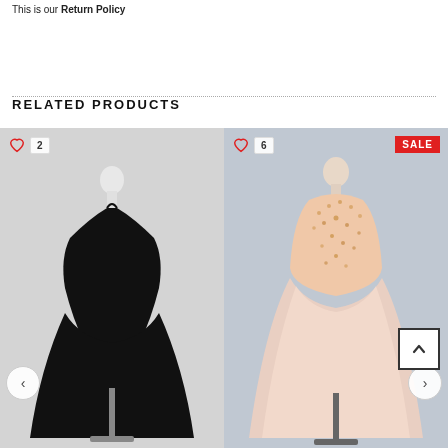This is our Return Policy
RELATED PRODUCTS
[Figure (photo): Black halter-neck short dress on mannequin, with heart icon and count badge showing 2, navigation arrow left]
[Figure (photo): Pink sequined tulle short dress on mannequin, with heart icon and count badge showing 6, SALE badge, navigation arrow right, scroll-to-top button]